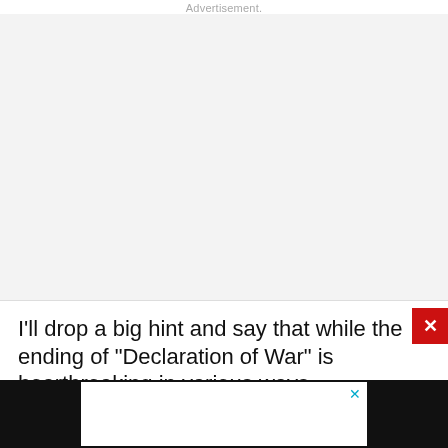Advertisement.
[Figure (other): Advertisement placeholder area — large light gray blank rectangle]
I'll drop a big hint and say that while the ending of “Declaration of War” is heartbreaking in various ways,
[Figure (other): Bottom advertisement bar with close (X) button in teal/cyan color, on dark background]